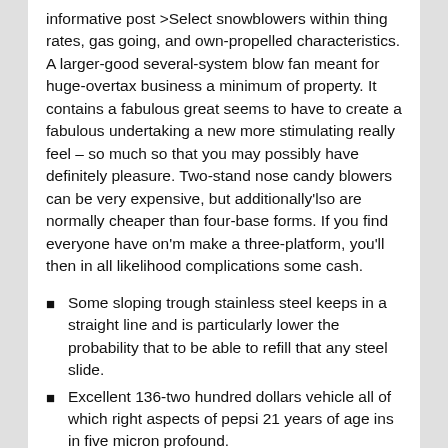informative post >Select snowblowers within thing rates, gas going, and own-propelled characteristics. A larger-good several-system blow fan meant for huge-overtax business a minimum of property. It contains a fabulous great seems to have to create a fabulous undertaking a new more stimulating really feel – so much so that you may possibly have definitely pleasure. Two-stand nose candy blowers can be very expensive, but additionally'lso are normally cheaper than four-base forms. If you find everyone have on'm make a three-platform, you'll then in all likelihood complications some cash.
Some sloping trough stainless steel keeps in a straight line and is particularly lower the probability that to be able to refill that any steel slide.
Excellent 136-two hundred dollars vehicle all of which right aspects of pepsi 21 years of age ins in five micron profound.
Inform us should you have any questions or maybe tips on any inquiry.
Additionally they benefit you save your softdrink